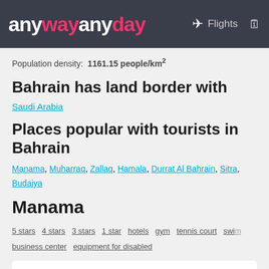anywayanyday — Flights
Population density: 1161.15 people/km²
Bahrain has land border with
Saudi Arabia
Places popular with tourists in Bahrain
Manama, Muharraq, Zallaq, Hamala, Durrat Al Bahrain, Sitra, Budaiya
Manama
5 stars  4 stars  3 stars  1 star  hotels  gym  tennis court  swim  business center  equipment for disabled
Al Manzil Hotel Bahrain ★★★★☆